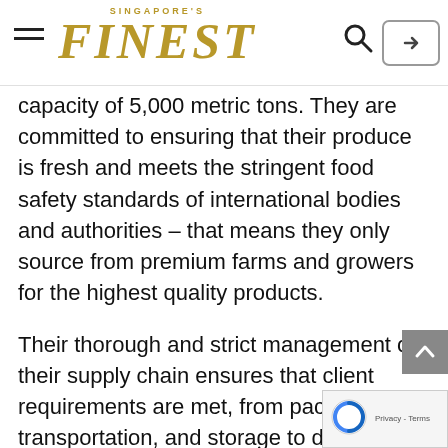SINGAPORE'S FINEST — navigation bar with hamburger menu, logo, search icon, and login button
capacity of 5,000 metric tons. They are committed to ensuring that their produce is fresh and meets the stringent food safety standards of international bodies and authorities – that means they only source from premium farms and growers for the highest quality products.
Their thorough and strict management of their supply chain ensures that client requirements are met, from packing, transportation, and storage to delivery. Today, they supply to over a hundred NTUC FairPrice supermarket outlets daily. Their growing clientele base of wholesalers, supermarkets, grocery stores and more speak the trust their clients have in them.